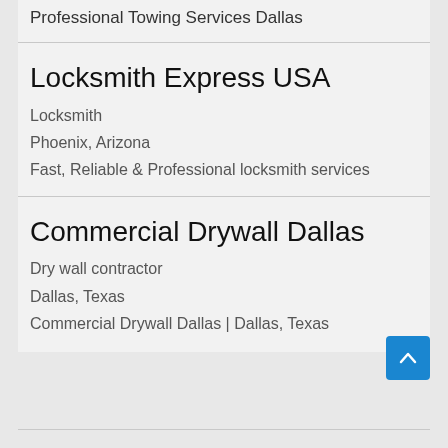Professional Towing Services Dallas
Locksmith Express USA
Locksmith
Phoenix, Arizona
Fast, Reliable & Professional locksmith services
Commercial Drywall Dallas
Dry wall contractor
Dallas, Texas
Commercial Drywall Dallas | Dallas, Texas